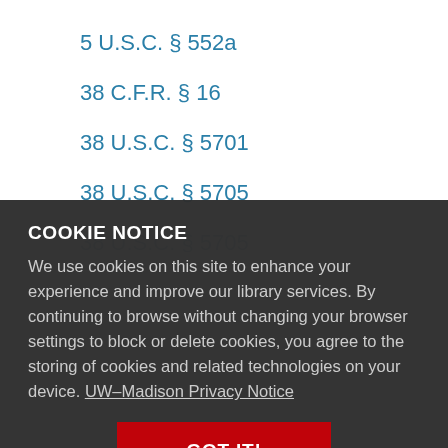5 U.S.C. § 552a
38 C.F.R. § 16
38 U.S.C. § 5701
38 U.S.C. § 5705
38 U.S.C. § 5705 (partial/faded)
COOKIE NOTICE
We use cookies on this site to enhance your experience and improve our library services. By continuing to browse without changing your browser settings to block or delete cookies, you agree to the storing of cookies and related technologies on your device. UW–Madison Privacy Notice
42 U.S.C. § 289g(b) (partial/faded)